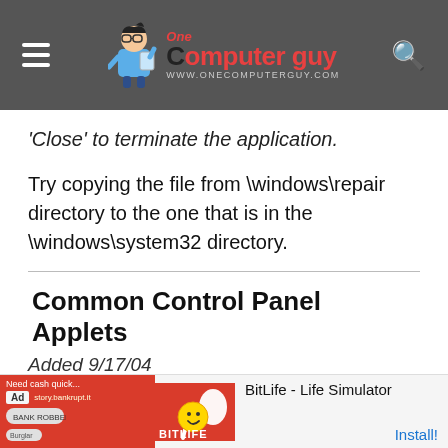One Computer Guy - www.onecomputerguy.com
'Close' to terminate the application.
Try copying the file from \windows\repair directory to the one that is in the \windows\system32 directory.
Common Control Panel Applets
Added 9/17/04
The follow are some common Control Panel Applets ... \wind...